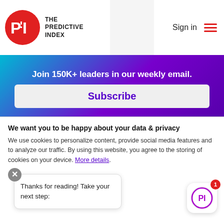[Figure (logo): The Predictive Index logo: red circle with 'PI' text and 'THE PREDICTIVE INDEX' wordmark]
Sign in
Join 150K+ leaders in our weekly email.
Subscribe
Call Sales: 877-421-3717
[Figure (logo): Partial 'BETTER WORK' circular badge/seal in gray]
We want you to be happy about your data & privacy
We use cookies to personalize content, provide social media features and to analyze our traffic. By using this website, you agree to the storing of cookies on your device. More details.
Thanks for reading! Take your next step: